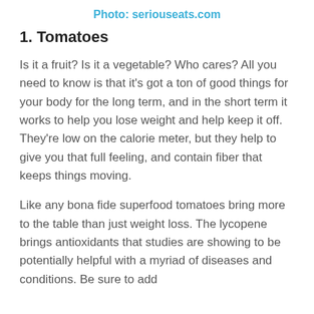Photo: seriouseats.com
1. Tomatoes
Is it a fruit? Is it a vegetable? Who cares? All you need to know is that it's got a ton of good things for your body for the long term, and in the short term it works to help you lose weight and help keep it off. They're low on the calorie meter, but they help to give you that full feeling, and contain fiber that keeps things moving.
Like any bona fide superfood tomatoes bring more to the table than just weight loss. The lycopene brings antioxidants that studies are showing to be potentially helpful with a myriad of diseases and conditions. Be sure to add